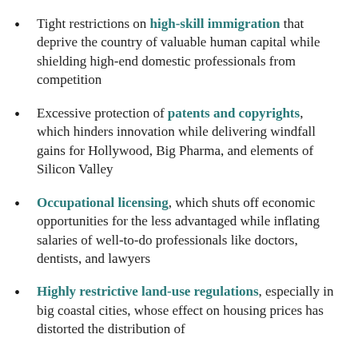Tight restrictions on high-skill immigration that deprive the country of valuable human capital while shielding high-end domestic professionals from competition
Excessive protection of patents and copyrights, which hinders innovation while delivering windfall gains for Hollywood, Big Pharma, and elements of Silicon Valley
Occupational licensing, which shuts off economic opportunities for the less advantaged while inflating salaries of well-to-do professionals like doctors, dentists, and lawyers
Highly restrictive land-use regulations, especially in big coastal cities, whose effect on housing prices has distorted the distribution of